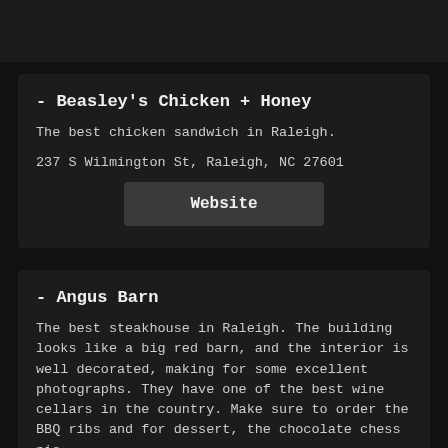- Beasley's Chicken + Honey
The best chicken sandwich in Raleigh.
237 S Wilmington St, Raleigh, NC 27601
Website
- Angus Barn
The best steakhouse in Raleigh.  The building looks like a big red barn, and the interior is well decorated, making for some excellent photographs.  They have one of the best wine cellars in the country.  Make sure to order the BBQ ribs and for dessert, the chocolate chess pie.
9401 Glenwood Ave, Raleigh, NC 27617